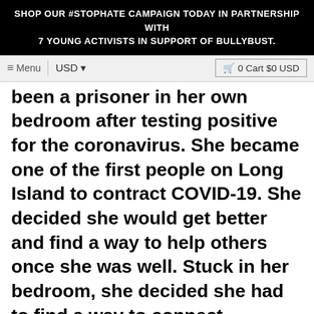SHOP OUR #STOPHATE CAMPAIGN TODAY IN PARTNERSHIP WITH 7 YOUNG ACTIVISTS IN SUPPORT OF BULLYBUST.
been a prisoner in her own bedroom after testing positive for the coronavirus. She became one of the first people on Long Island to contract COVID-19. She decided she would get better and find a way to help others once she was well. Stuck in her bedroom, she decided she had to find a way to connect survivors like herself to medical studies in order to help save lives.
Sign-up to not miss out on our latest collaborations, sales, and more.